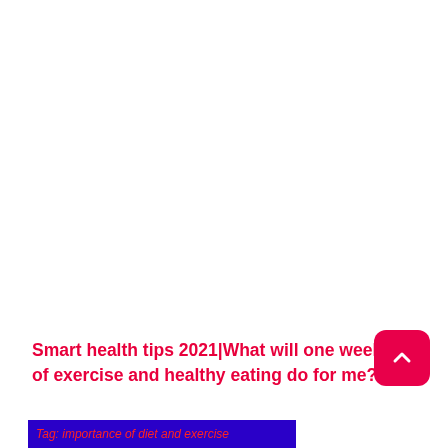Smart health tips 2021|What will one week of exercise and healthy eating do for me?
[Figure (other): Scroll-to-top button — pink/magenta rounded square with upward chevron arrow icon]
Tag: importance of diet and exercise